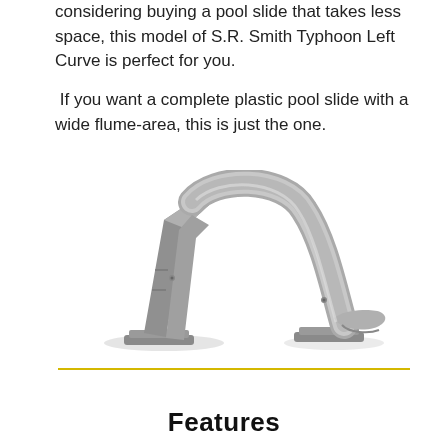considering buying a pool slide that takes less space, this model of S.R. Smith Typhoon Left Curve is perfect for you.

If you want a complete plastic pool slide with a wide flume-area, this is just the one.
[Figure (photo): A silver/gray curved pool slide (S.R. Smith Typhoon Left Curve) shown from the side, with a tall curved top section and a flared slide flume angled to the right, resting on a base. The slide has a metallic plastic appearance.]
Features